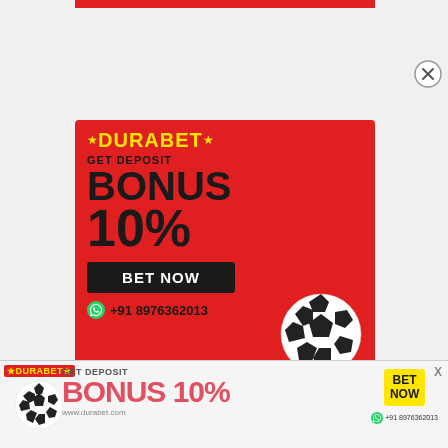[Figure (advertisement): Durabet betting site popup advertisement with red background. Shows DURABET logo in yellow, 'GET DEPOSIT BONUS 10%' text in dark/black, a BET NOW button, phone number +91 8976362013, and a soccer ball graphic.]
[Figure (advertisement): Durabet bottom banner advertisement showing DURABET logo, soccer ball, GET DEPOSIT BONUS 10% text, BET NOW button, www.durabet.com, and +91 8976362013 WhatsApp number.]